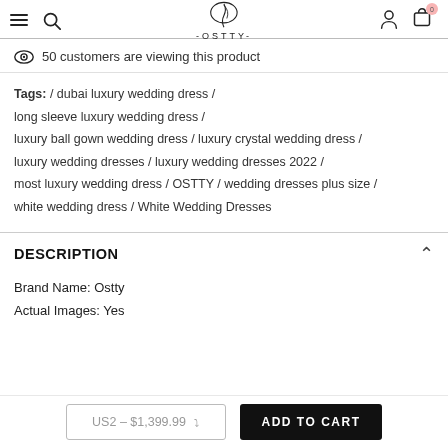OSTTY (logo with hamburger, search, account, cart icons)
50 customers are viewing this product
Tags: / dubai luxury wedding dress / long sleeve luxury wedding dress / luxury ball gown wedding dress / luxury crystal wedding dress / luxury wedding dresses / luxury wedding dresses 2022 / most luxury wedding dress / OSTTY / wedding dresses plus size / white wedding dress / White Wedding Dresses
DESCRIPTION
Brand Name: Ostty
Actual Images: Yes